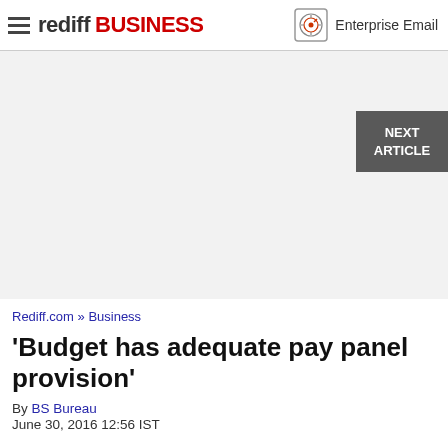rediff BUSINESS  Enterprise Email
[Figure (other): Advertisement / blank gray area]
Rediff.com » Business
'Budget has adequate pay panel provision'
By BS Bureau
June 30, 2016 12:56 IST